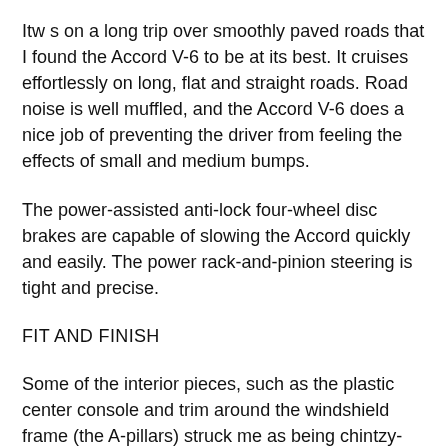Itw s on a long trip over smoothly paved roads that I found the Accord V-6 to be at its best. It cruises effortlessly on long, flat and straight roads. Road noise is well muffled, and the Accord V-6 does a nice job of preventing the driver from feeling the effects of small and medium bumps.
The power-assisted anti-lock four-wheel disc brakes are capable of slowing the Accord quickly and easily. The power rack-and-pinion steering is tight and precise.
FIT AND FINISH
Some of the interior pieces, such as the plastic center console and trim around the windshield frame (the A-pillars) struck me as being chintzy-looking for a $22,000 car.